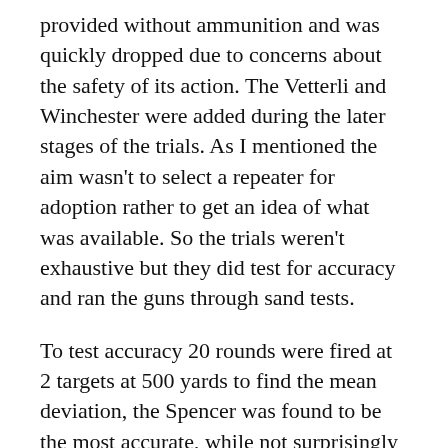provided without ammunition and was quickly dropped due to concerns about the safety of its action. The Vetterli and Winchester were added during the later stages of the trials. As I mentioned the aim wasn't to select a repeater for adoption rather to get an idea of what was available. So the trials weren't exhaustive but they did test for accuracy and ran the guns through sand tests.
To test accuracy 20 rounds were fired at 2 targets at 500 yards to find the mean deviation, the Spencer was found to be the most accurate, while not surprisingly the Henry chambered in .44 Rimfire fared the worst. The rifles' rates of fire were also tested: the Ball and Lamson fired 40 rounds in just under 3 minutes, the Spencer fired 14 rounds in 1 minute 33 before jamming and being dropped from testing, and the Henry fired 45 rounds in 1 minute 36 seconds. The rifles were also subjected to sand tests